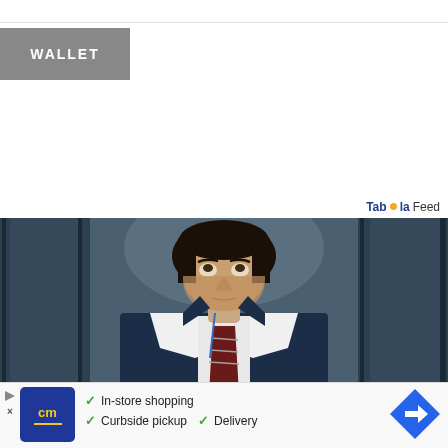WALLET
Taboola Feed
[Figure (photo): Man in dark business suit and striped tie looking upward, standing in a dimly lit elevator or corridor with steel-toned walls]
[Figure (infographic): Advertisement bar: cm logo (yellow on dark blue), checkmarks for In-store shopping, Curbside pickup, Delivery, blue arrow navigation icon on right]